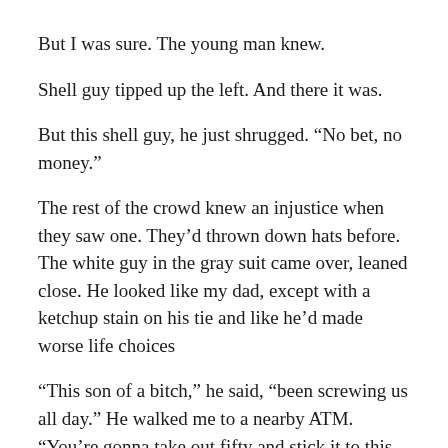But I was sure. The young man knew.
Shell guy tipped up the left. And there it was.
But this shell guy, he just shrugged. “No bet, no money.”
The rest of the crowd knew an injustice when they saw one. They’d thrown down hats before. The white guy in the gray suit came over, leaned close. He looked like my dad, except with a ketchup stain on his tie and like he’d made worse life choices
“This son of a bitch,” he said, “been screwing us all day.” He walked me to a nearby ATM. “You’re gonna take out fifty and stick it to this son of a bitch,” he said.